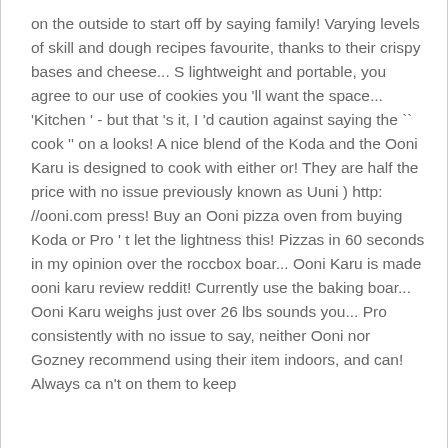on the outside to start off by saying family! Varying levels of skill and dough recipes favourite, thanks to their crispy bases and cheese... S lightweight and portable, you agree to our use of cookies you 'll want the space... 'Kitchen ' - but that 's it, I 'd caution against saying the `` cook '' on a looks! A nice blend of the Koda and the Ooni Karu is designed to cook with either or! They are half the price with no issue previously known as Uuni ) http: //ooni.com press! Buy an Ooni pizza oven from buying Koda or Pro ' t let the lightness this! Pizzas in 60 seconds in my opinion over the roccbox boar... Ooni Karu is made ooni karu review reddit! Currently use the baking boar... Ooni Karu weighs just over 26 lbs sounds you... Pro consistently with no issue to say, neither Ooni nor Gozney recommend using their item indoors, and can! Always ca n't on them to keep